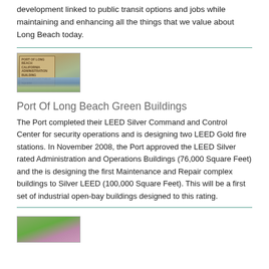development linked to public transit options and jobs while maintaining and enhancing all the things that we value about Long Beach today.
[Figure (photo): Photo of Port of Long Beach California Administration Building sign with a colorful mural below it]
Port Of Long Beach Green Buildings
The Port completed their LEED Silver Command and Control Center for security operations and is designing two LEED Gold fire stations. In November 2008, the Port approved the LEED Silver rated Administration and Operations Buildings (76,000 Square Feet) and the is designing the first Maintenance and Repair complex buildings to Silver LEED (100,000 Square Feet). This will be a first set of industrial open-bay buildings designed to this rating.
[Figure (photo): Photo of flowering trees or garden vegetation]